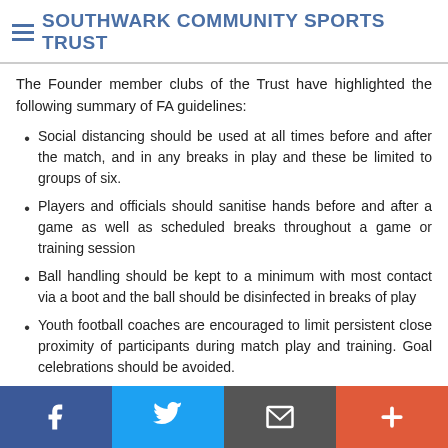SOUTHWARK COMMUNITY SPORTS TRUST
The Founder member clubs of the Trust have highlighted the following summary of FA guidelines:
Social distancing should be used at all times before and after the match, and in any breaks in play and these be limited to groups of six.
Players and officials should sanitise hands before and after a game as well as scheduled breaks throughout a game or training session
Ball handling should be kept to a minimum with most contact via a boot and the ball should be disinfected in breaks of play
Youth football coaches are encouraged to limit persistent close proximity of participants during match play and training. Goal celebrations should be avoided.